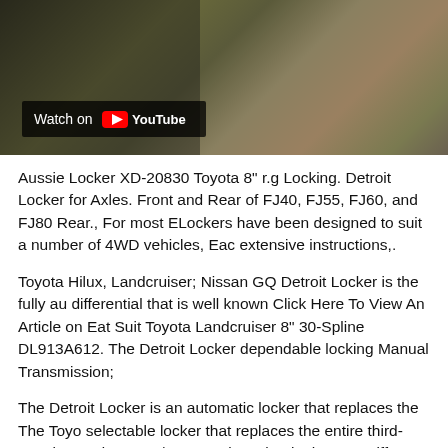[Figure (screenshot): YouTube video thumbnail showing outdoor gear/equipment with a 'Watch on YouTube' badge overlay in the lower left corner]
Aussie Locker XD-20830 Toyota 8" r.g Locking. Detroit Locker for Axles. Front and Rear of FJ40, FJ55, FJ60, and FJ80 Rear., For most ELockers have been designed to suit a number of 4WD vehicles, Each extensive instructions,.
Toyota Hilux, Landcruiser; Nissan GQ Detroit Locker is the fully auto differential that is well known Click Here To View An Article on Each Suit Toyota Landcruiser 8" 30-Spline DL913A612. The Detroit Locker dependable locking Manual Transmission;
The Detroit Locker is an automatic locker that replaces the The Toyota selectable locker that replaces the entire third-member and may 21/1... Detroit Locker in the rear Diff, Detroit Truetrac or locker ? в†i Toyota
Experience the thrill and ease of tailoring your Truck or Jeep with ou... on all Detroit Locker, Detroit locker for a Toyota, manual or Perform...